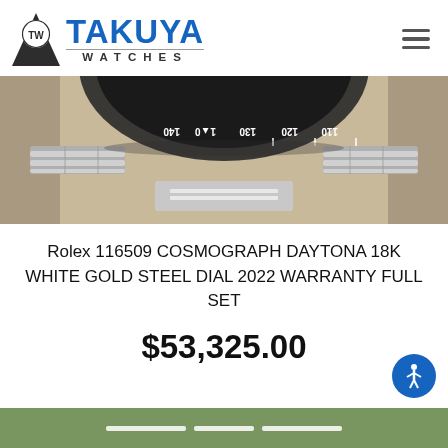[Figure (logo): Takuya Watches logo with triangle TW badge and blue TAKUYA text with WATCHES subtitle]
[Figure (photo): Close-up photo of a Rolex Cosmograph Daytona watch showing the bezel with tachymeter markings (110, 120, 130, 140) and the metal bracelet clasp area on a cream/beige background]
Rolex 116509 COSMOGRAPH DAYTONA 18K WHITE GOLD STEEL DIAL 2022 WARRANTY FULL SET
$53,325.00
[Figure (photo): Bottom partial image showing a green/olive colored surface with white rectangular elements]